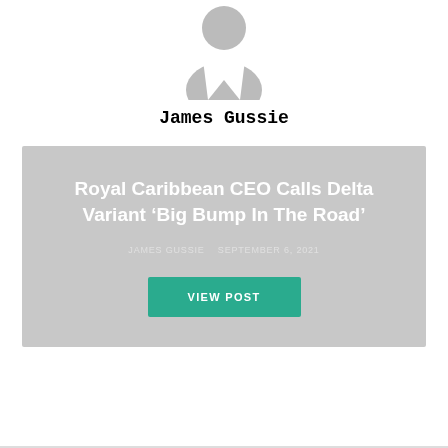[Figure (illustration): Default user avatar icon in gray, showing silhouette of a person, cropped at top]
James Gussie
[Figure (infographic): Gray card containing article title, author byline, date, and VIEW POST button]
Royal Caribbean CEO Calls Delta Variant ‘Big Bump In The Road’
JAMES GUSSIE   SEPTEMBER 6, 2021